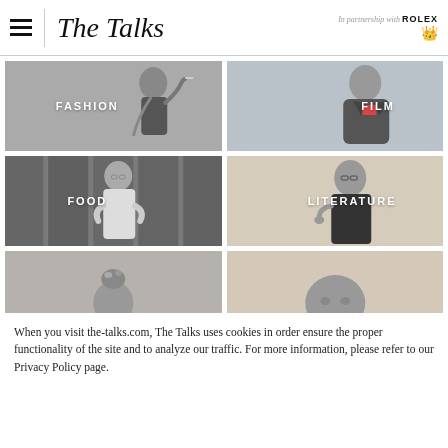The Talks — In partnership with ROLEX
[Figure (photo): Category grid: FASHION - grayscale photo of a woman in profile smoking]
[Figure (photo): Category grid: FILM - grayscale photo of a man in leather jacket]
[Figure (photo): Category grid: FOOD - grayscale photo of a man in white shirt]
[Figure (photo): Category grid: LITERATURE - warm-toned photo of a man with glasses thinking]
[Figure (photo): Category grid: partial photo of a woman with hair up]
[Figure (photo): Category grid: partial photo of a man's face]
When you visit the-talks.com, The Talks uses cookies in order ensure the proper functionality of the site and to analyze our traffic. For more information, please refer to our Privacy Policy page.